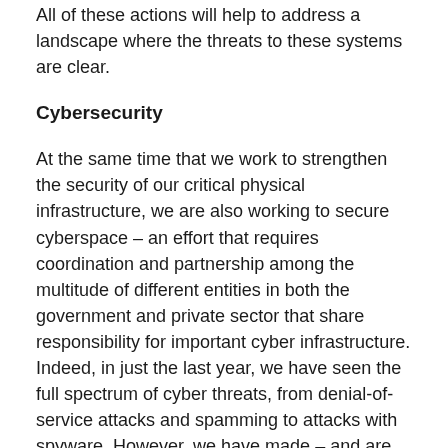All of these actions will help to address a landscape where the threats to these systems are clear.
Cybersecurity
At the same time that we work to strengthen the security of our critical physical infrastructure, we are also working to secure cyberspace – an effort that requires coordination and partnership among the multitude of different entities in both the government and private sector that share responsibility for important cyber infrastructure. Indeed, in just the last year, we have seen the full spectrum of cyber threats, from denial-of-service attacks and spamming to attacks with spyware. However, we have made – and are continuing to make – substantial progress at building the capability necessary to address cyber incidents on a national level.
DHS has expanded its capabilities to further secure cyberspace. Last year, we entered into a new agreement with the Department of Defense and National Security Agency to share our capabilities to protect our in